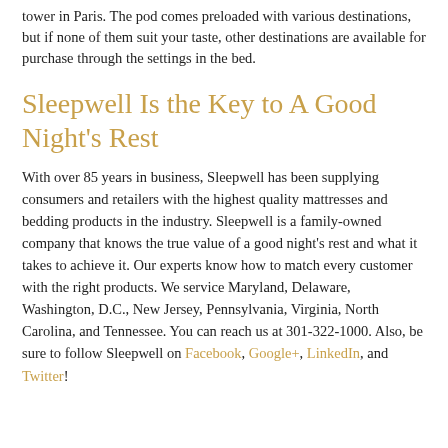tower in Paris. The pod comes preloaded with various destinations, but if none of them suit your taste, other destinations are available for purchase through the settings in the bed.
Sleepwell Is the Key to A Good Night's Rest
With over 85 years in business, Sleepwell has been supplying consumers and retailers with the highest quality mattresses and bedding products in the industry. Sleepwell is a family-owned company that knows the true value of a good night's rest and what it takes to achieve it. Our experts know how to match every customer with the right products. We service Maryland, Delaware, Washington, D.C., New Jersey, Pennsylvania, Virginia, North Carolina, and Tennessee. You can reach us at 301-322-1000. Also, be sure to follow Sleepwell on Facebook, Google+, LinkedIn, and Twitter!